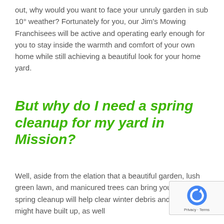out, why would you want to face your unruly garden in sub 10° weather? Fortunately for you, our Jim's Mowing Franchisees will be active and operating early enough for you to stay inside the warmth and comfort of your own home while still achieving a beautiful look for your home yard.
But why do I need a spring cleanup for my yard in Mission?
Well, aside from the elation that a beautiful garden, lush green lawn, and manicured trees can bring you, a proper spring cleanup will help clear winter debris and clutter that might have built up, as well